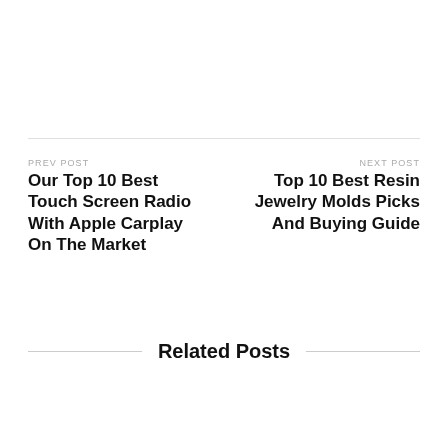PREV POST
Our Top 10 Best Touch Screen Radio With Apple Carplay On The Market
NEXT POST
Top 10 Best Resin Jewelry Molds Picks And Buying Guide
Related Posts